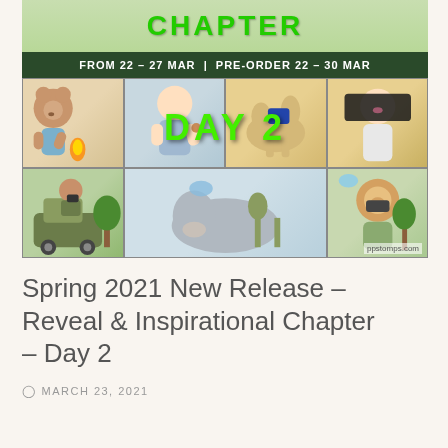[Figure (illustration): Promotional banner image for Spring 2021 New Release. Top shows 'CHAPTER' in green text on light green background, below a dark bar with 'FROM 22 – 27 MAR | PRE-ORDER 22 – 30 MAR'. Below are six cartoon panels showing cute illustrated characters: a bear with camping fire, a boy with bottles, a camel with decorative saddle, a girl in Egyptian style, a boy in safari jeep with binoculars, a hippo/elephant near water plants, and a lion with binoculars. 'DAY 2' overlaid in large green text. Watermark: ppstomps.com]
Spring 2021 New Release – Reveal & Inspirational Chapter – Day 2
MARCH 23, 2021